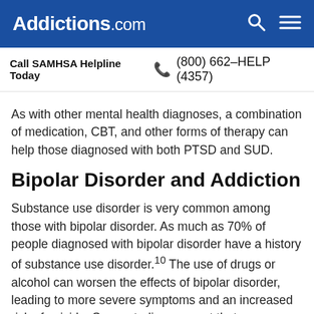Addictions.com
Call SAMHSA Helpline Today  (800) 662-HELP (4357)
As with other mental health diagnoses, a combination of medication, CBT, and other forms of therapy can help those diagnosed with both PTSD and SUD.
Bipolar Disorder and Addiction
Substance use disorder is very common among those with bipolar disorder. As much as 70% of people diagnosed with bipolar disorder have a history of substance use disorder.10 The use of drugs or alcohol can worsen the effects of bipolar disorder, leading to more severe symptoms and an increased risk of suicide. Some studies suggest that medications used for bipolar disorder may also help reduce substance